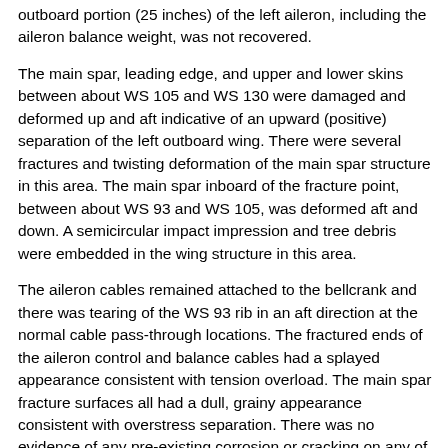outboard portion (25 inches) of the left aileron, including the aileron balance weight, was not recovered.
The main spar, leading edge, and upper and lower skins between about WS 105 and WS 130 were damaged and deformed up and aft indicative of an upward (positive) separation of the left outboard wing. There were several fractures and twisting deformation of the main spar structure in this area. The main spar inboard of the fracture point, between about WS 93 and WS 105, was deformed aft and down. A semicircular impact impression and tree debris were embedded in the wing structure in this area.
The aileron cables remained attached to the bellcrank and there was tearing of the WS 93 rib in an aft direction at the normal cable pass-through locations. The fractured ends of the aileron control and balance cables had a splayed appearance consistent with tension overload. The main spar fracture surfaces all had a dull, grainy appearance consistent with overstress separation. There was no evidence of any pre-existing corrosion or cracking on any of the fracture surfaces.